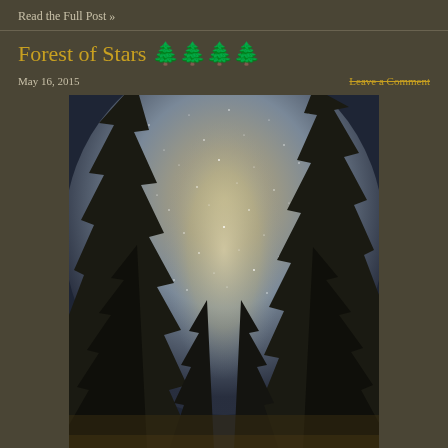Read the Full Post »
Forest of Stars 🌲🌲🌲🌲
May 16, 2015
Leave a Comment
[Figure (photo): Night sky photo looking up through silhouetted pine trees at the Milky Way galaxy, dark forest framing a bright starry sky with the galactic core visible]